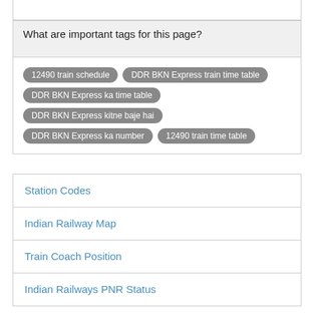What are important tags for this page?
12490 train schedule | DDR BKN Express train time table | DDR BKN Express ka time table | DDR BKN Express kitne baje hai | DDR BKN Express ka number | 12490 train time table
Station Codes
Indian Railway Map
Train Coach Position
Indian Railways PNR Status
12491 Train Route: Mourdhwaj Express